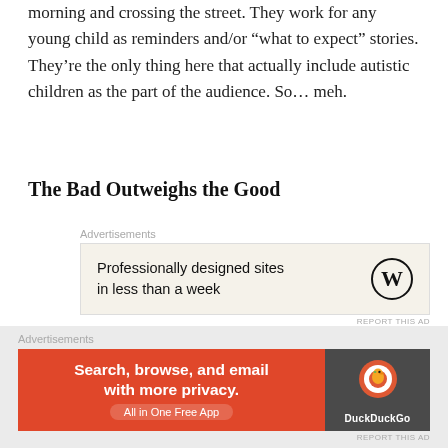morning and crossing the street. They work for any young child as reminders and/or “what to expect” stories. They’re the only thing here that actually include autistic children as the part of the audience. So… meh.
The Bad Outweighs the Good
[Figure (screenshot): WordPress advertisement: 'Professionally designed sites in less than a week' with WordPress logo on beige background]
I’m an idealist but I do have a pragmatic streak. I know that massive social changes take time, and autism acceptance is no exception. Is Sesame Street
[Figure (screenshot): DuckDuckGo advertisement: 'Search, browse, and email with more privacy. All in One Free App' on orange and dark background]